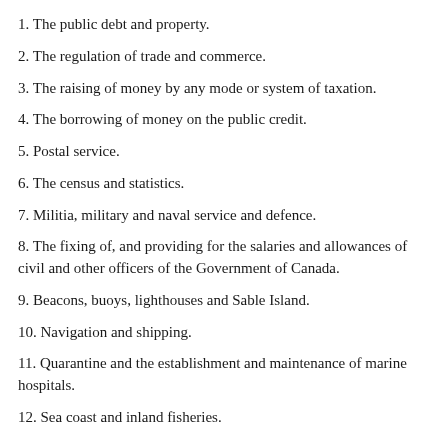1. The public debt and property.
2. The regulation of trade and commerce.
3. The raising of money by any mode or system of taxation.
4. The borrowing of money on the public credit.
5. Postal service.
6. The census and statistics.
7. Militia, military and naval service and defence.
8. The fixing of, and providing for the salaries and allowances of civil and other officers of the Government of Canada.
9. Beacons, buoys, lighthouses and Sable Island.
10. Navigation and shipping.
11. Quarantine and the establishment and maintenance of marine hospitals.
12. Sea coast and inland fisheries.